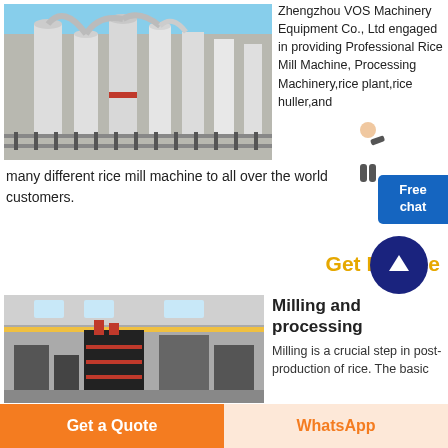[Figure (photo): Industrial milling/processing machinery outdoor installation with large white silos and ductwork]
Zhengzhou VOS Machinery Equipment Co., Ltd engaged in providing Professional Rice Mill Machine, Processing Machinery,rice plant,rice huller,and many different rice mill machine to all over the world customers.
Get Free Price
Milling and processing
Milling is a crucial step in post-production of rice. The basic
[Figure (photo): Indoor industrial milling machinery and processing equipment in a factory setting]
Get a Quote
WhatsApp